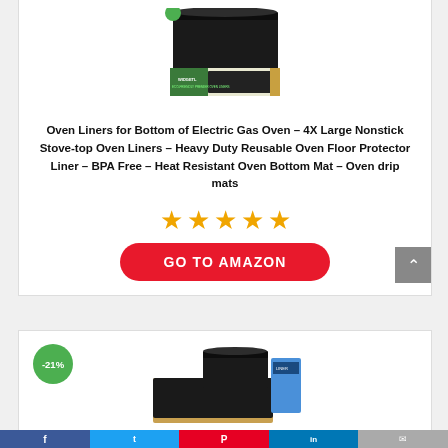[Figure (photo): Product photo of oven liners - black liner mat with product packaging box]
Oven Liners for Bottom of Electric Gas Oven – 4X Large Nonstick Stove-top Oven Liners – Heavy Duty Reusable Oven Floor Protector Liner – BPA Free – Heat Resistant Oven Bottom Mat – Oven drip mats
[Figure (other): Five orange star rating icons]
[Figure (other): GO TO AMAZON red button]
[Figure (photo): Second product - oven liner mat with packaging, -21% discount badge]